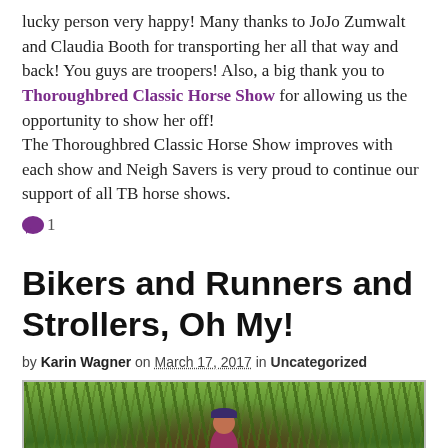lucky person very happy! Many thanks to JoJo Zumwalt and Claudia Booth for transporting her all that way and back! You guys are troopers! Also, a big thank you to Thoroughbred Classic Horse Show for allowing us the opportunity to show her off!
The Thoroughbred Classic Horse Show improves with each show and Neigh Savers is very proud to continue our support of all TB horse shows.
💬1
Bikers and Runners and Strollers, Oh My!
by Karin Wagner on March 17, 2017 in Uncategorized
[Figure (photo): Person wearing a hat standing in front of dense green foliage/vegetation]